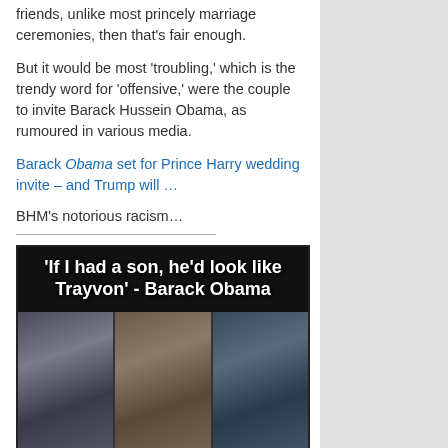friends, unlike most princely marriage ceremonies, then that's fair enough.
But it would be most 'troubling,' which is the trendy word for 'offensive,' were the couple to invite Barack Hussein Obama, as rumoured in various media.
Barack Obama set for Prince Harry wedding invite – and Trump will …
BHM's notorious racism…
[Figure (photo): A meme image with the text 'If I had a son, he'd look like Trayvon' - Barack Obama, showing three photographs of men.]
====